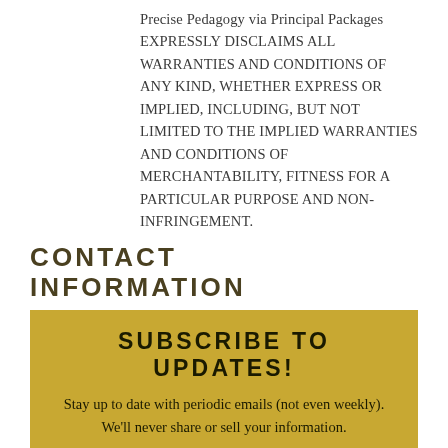Precise Pedagogy via Principal Packages EXPRESSLY DISCLAIMS ALL WARRANTIES AND CONDITIONS OF ANY KIND, WHETHER EXPRESS OR IMPLIED, INCLUDING, BUT NOT LIMITED TO THE IMPLIED WARRANTIES AND CONDITIONS OF MERCHANTABILITY, FITNESS FOR A PARTICULAR PURPOSE AND NON-INFRINGEMENT.
CONTACT INFORMATION
If you have any questions or comments about our Terms of Service as outlined above, you can contact us using our contact form.
SUBSCRIBE TO UPDATES! Stay up to date with periodic emails (not even weekly). We'll never share or sell your information.